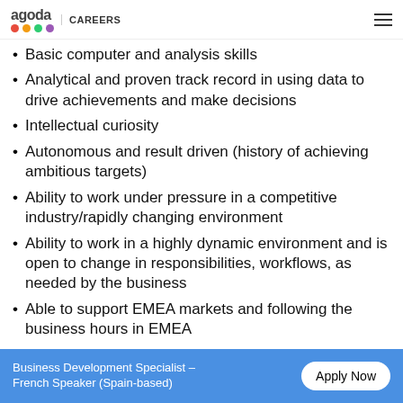agoda | CAREERS
Basic computer and analysis skills
Analytical and proven track record in using data to drive achievements and make decisions
Intellectual curiosity
Autonomous and result driven (history of achieving ambitious targets)
Ability to work under pressure in a competitive industry/rapidly changing environment
Ability to work in a highly dynamic environment and is open to change in responsibilities, workflows, as needed by the business
Able to support EMEA markets and following the business hours in EMEA
Fluent communication skills in English and French Language
Business Development Specialist – French Speaker (Spain-based)   Apply Now